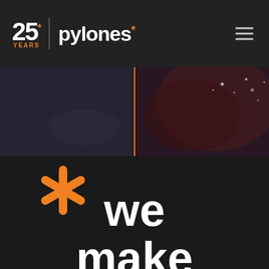25* YEARS | pylones*
[Figure (photo): Dark atmospheric hero image with bokeh light spots and reddish/purple tones, with an orange vertical dividing line overlay]
[Figure (illustration): Large orange asterisk symbol (*) on dark background]
we make IT